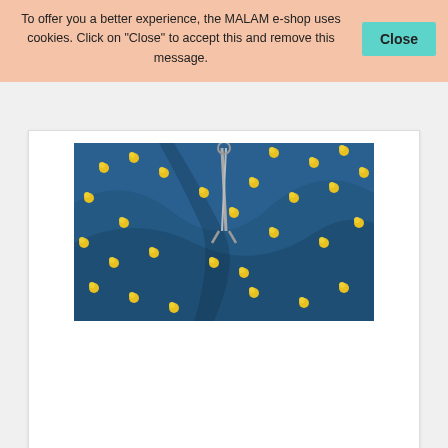To offer you a better experience, the MALAM e-shop uses cookies. Click on "Close" to accept this and remove this message.
[Figure (photo): Blue fabric with yellow floral pattern, with scissors partially visible, shown draped and folded.]
V439 Fabric
More
[Figure (photo): Partial view of a floral fabric with pink, red, and green flower pattern on a light background.]